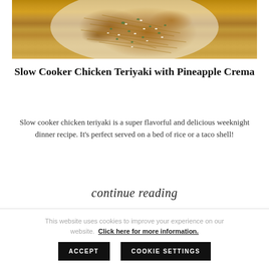[Figure (photo): Top-down photo of slow cooker chicken teriyaki with shredded golden-brown chicken, sesame seeds, and green herbs on a white plate]
Slow Cooker Chicken Teriyaki with Pineapple Crema
Slow cooker chicken teriyaki is a super flavorful and delicious weeknight dinner recipe. It's perfect served on a bed of rice or a taco shell!
continue reading
This website uses cookies to improve your experience on our website. Click here for more information.
ACCEPT   COOKIE SETTINGS